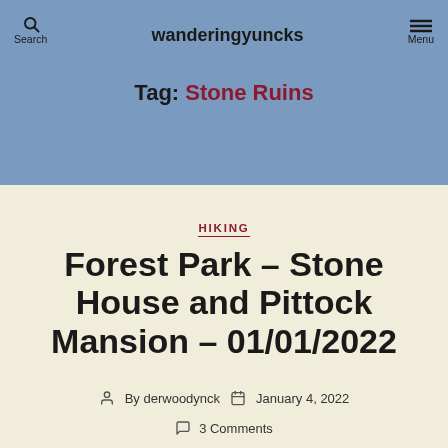Search  wanderingyuncks  Menu
Tag: Stone Ruins
HIKING
Forest Park – Stone House and Pittock Mansion – 01/01/2022
By derwoodynck  January 4, 2022
3 Comments